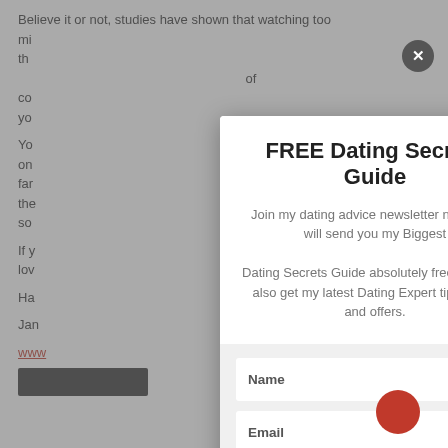Believe it or not, studies have shown that watching too much TV can make you less attractive to the opposite sex because of your...
You...on...far...the...so...
If you...lov...
Ha...
Jan...
www...
FREE Dating Secrets Guide
Join my dating advice newsletter now and I will send you my Biggest Dating Secrets Guide absolutely free.  You will also get my latest Dating Expert tips, news and offers.
Name
Email